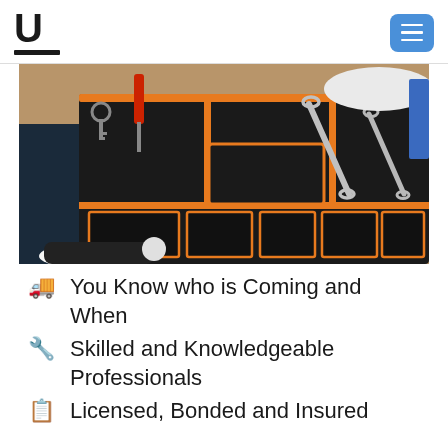U [logo] [menu icon]
[Figure (photo): Close-up photo of a black and orange tool bag with wrenches and tools inside, with a person's shoe visible in the background]
You Know who is Coming and When
Skilled and Knowledgeable Professionals
Licensed, Bonded and Insured